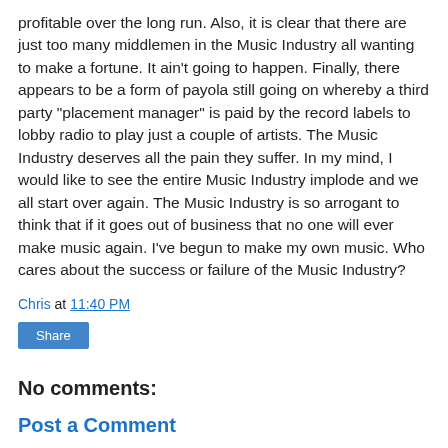profitable over the long run. Also, it is clear that there are just too many middlemen in the Music Industry all wanting to make a fortune. It ain't going to happen. Finally, there appears to be a form of payola still going on whereby a third party "placement manager" is paid by the record labels to lobby radio to play just a couple of artists. The Music Industry deserves all the pain they suffer. In my mind, I would like to see the entire Music Industry implode and we all start over again. The Music Industry is so arrogant to think that if it goes out of business that no one will ever make music again. I've begun to make my own music. Who cares about the success or failure of the Music Industry?
Chris at 11:40 PM
Share
No comments:
Post a Comment